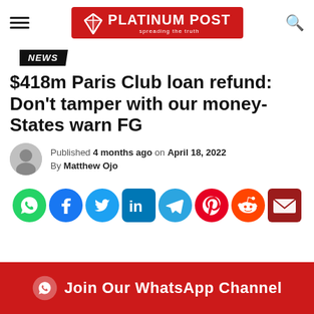PLATINUM POST
NEWS
$418m Paris Club loan refund: Don't tamper with our money- States warn FG
Published 4 months ago on April 18, 2022
By Matthew Ojo
[Figure (infographic): Social media sharing icons row: WhatsApp (green), Facebook (blue), Twitter (cyan), LinkedIn (blue), Telegram (blue), Pinterest (red), Reddit (orange), Email (dark red)]
Join Our WhatsApp Channel